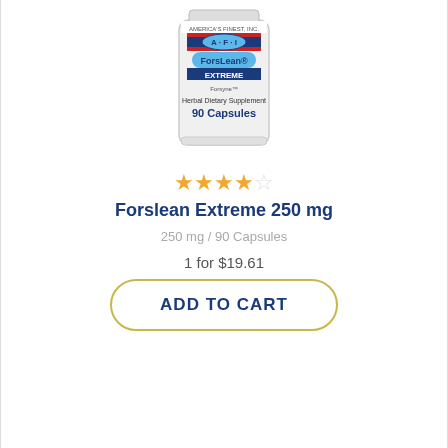[Figure (photo): A white supplement bottle labeled 'ForsLean Extreme 250mg - Herbal Dietary Supplement - 90 Capsules' by America's Finest Inc (AFI), with red, white, and blue flag design on label]
★★★★☆
Forslean Extreme 250 mg
250 mg / 90 Capsules
1 for $19.61
ADD TO CART